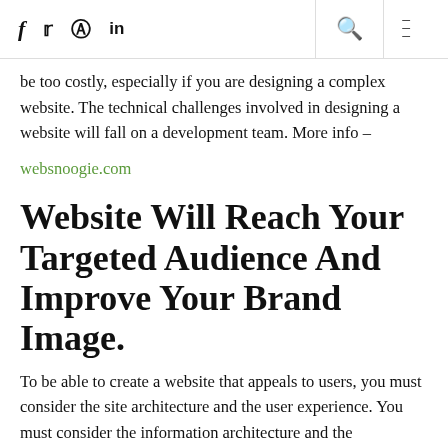f  y  p  in  [search] [menu]
be too costly, especially if you are designing a complex website. The technical challenges involved in designing a website will fall on a development team. More info –
websnoogie.com
Website Will Reach Your Targeted Audience And Improve Your Brand Image.
To be able to create a website that appeals to users, you must consider the site architecture and the user experience. You must consider the information architecture and the